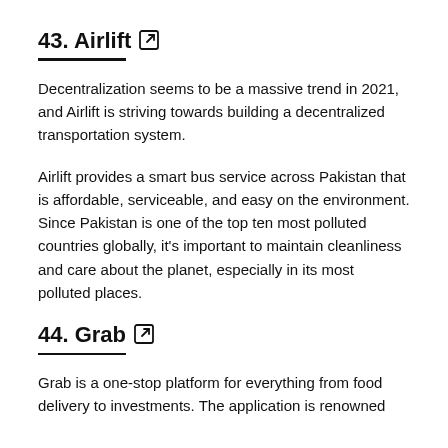43. Airlift
Decentralization seems to be a massive trend in 2021, and Airlift is striving towards building a decentralized transportation system.
Airlift provides a smart bus service across Pakistan that is affordable, serviceable, and easy on the environment. Since Pakistan is one of the top ten most polluted countries globally, it’s important to maintain cleanliness and care about the planet, especially in its most polluted places.
44. Grab
Grab is a one-stop platform for everything from food delivery to investments. The application is renowned